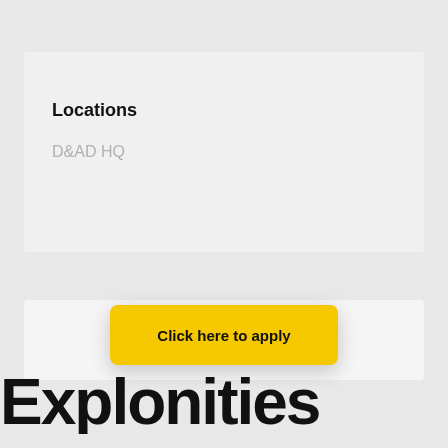Locations
D&AD HQ
Click here to apply
Explo…nities